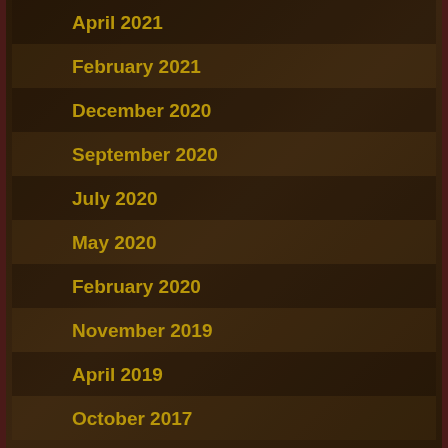April 2021
February 2021
December 2020
September 2020
July 2020
May 2020
February 2020
November 2019
April 2019
October 2017